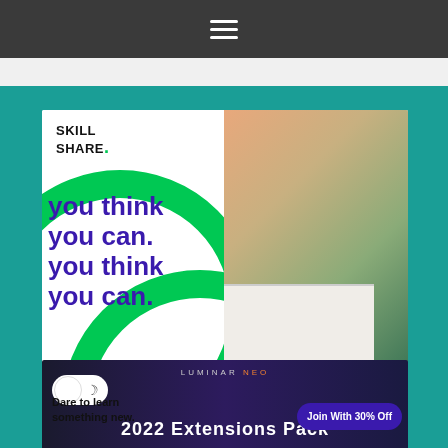☰ (hamburger menu icon)
[Figure (illustration): Skillshare advertisement banner. White background with green decorative circles. Logo reads 'SKILL SHARE.' with green dot. Large purple text: 'you think you can. you think you can.' Black text: 'Dare to learn something new.' Purple button: 'Join With 30% Off'. Right side shows a photo of hands writing in a notebook on a wood desk with camera, plant, curtain in background.]
[Figure (screenshot): Luminar Neo advertisement banner. Dark blue/purple background. Toggle switch (light/dark mode) on left. Text reads 'LUMINAR NEO' in white and orange. Large text: '2022 Extensions Pack']